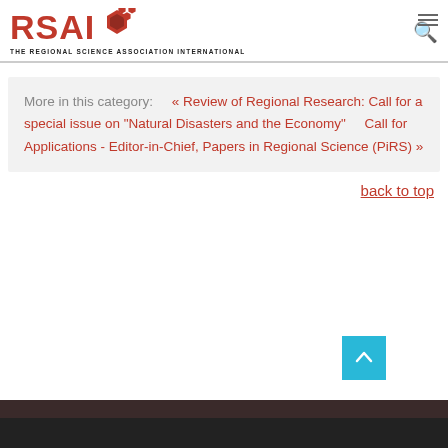[Figure (logo): RSAI logo with honeycomb hexagon icon and subtitle THE REGIONAL SCIENCE ASSOCIATION INTERNATIONAL]
More in this category:    « Review of Regional Research: Call for a special issue on "Natural Disasters and the Economy"    Call for Applications - Editor-in-Chief, Papers in Regional Science (PiRS) »
back to top